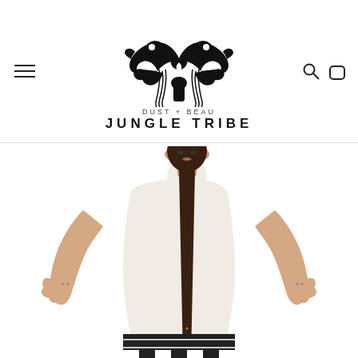[Figure (logo): Dust + Beau Jungle Tribe logo with two mirrored bird/skull creatures and brand name text below]
[Figure (photo): Fashion model wearing a white cropped turtleneck long-sleeve top and black and white patterned skirt, arms raised with hands in a mudra-like pose]